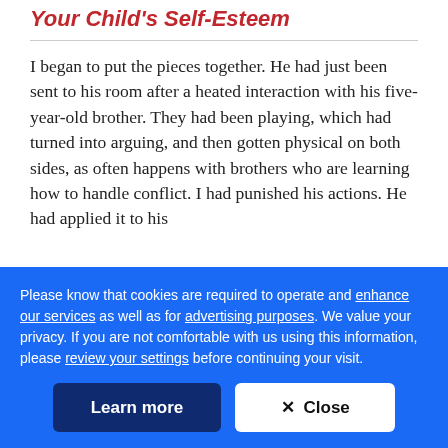Your Child's Self-Esteem
I began to put the pieces together. He had just been sent to his room after a heated interaction with his five-year-old brother. They had been playing, which had turned into arguing, and then gotten physical on both sides, as often happens with brothers who are learning how to handle conflict. I had punished his actions. He had applied it to his
Please know that cookies are required to operate and enhance our services as well as for advertising purposes. We value your privacy. If you are not comfortable with us using this information, please review your settings before continuing your visit.
Learn more
✕ Close